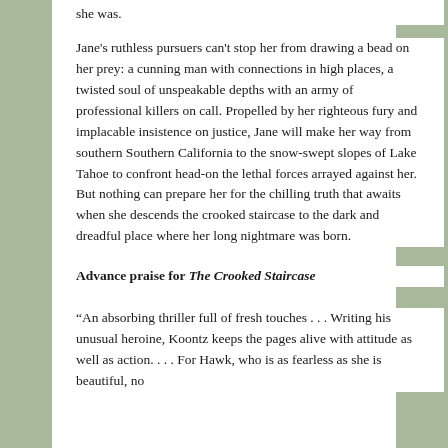she was.
Jane's ruthless pursuers can't stop her from drawing a bead on her prey: a cunning man with connections in high places, a twisted soul of unspeakable depths with an army of professional killers on call. Propelled by her righteous fury and implacable insistence on justice, Jane will make her way from southern Southern California to the snow-swept slopes of Lake Tahoe to confront head-on the lethal forces arrayed against her. But nothing can prepare her for the chilling truth that awaits when she descends the crooked staircase to the dark and dreadful place where her long nightmare was born.
Advance praise for The Crooked Staircase
“An absorbing thriller full of fresh touches . . . Writing his unusual heroine, Koontz keeps the pages alive with attitude as well as action. . . . For Hawk, who is as fearless as she is beautiful, no